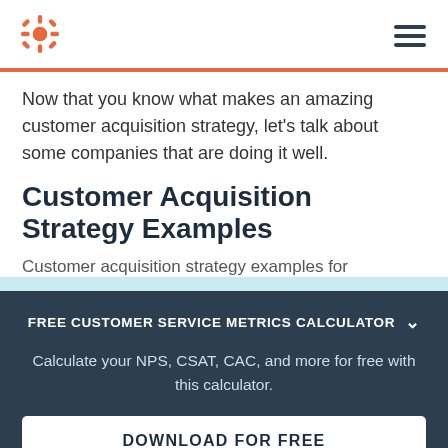HubSpot logo and navigation
Now that you know what makes an amazing customer acquisition strategy, let's talk about some companies that are doing it well.
Customer Acquisition Strategy Examples
Customer acquisition strategy examples for...
FREE CUSTOMER SERVICE METRICS CALCULATOR
Calculate your NPS, CSAT, CAC, and more for free with this calculator.
DOWNLOAD FOR FREE